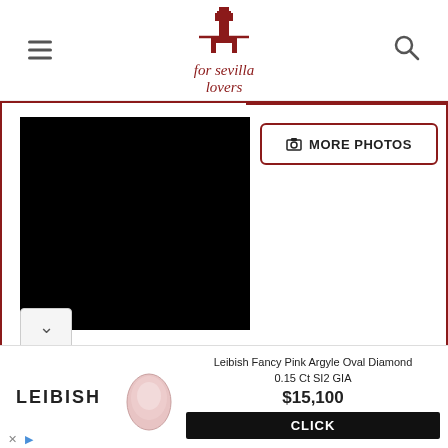for sevilla lovers — website header with hamburger menu and search icon
[Figure (screenshot): Main content area showing a large black product image on the left with a 'MORE PHOTOS' button on the right, red border box, and a chevron down button at the bottom left]
[Figure (photo): Advertisement banner: Leibish Fancy Pink Argyle Oval Diamond 0.15 Ct SI2 GIA, price $15,100, with CLICK button. Shows LEIBISH logo, pink oval diamond image.]